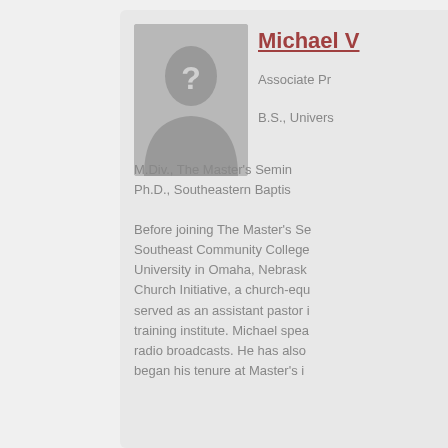[Figure (photo): Silhouette placeholder image of a person with a question mark, gray background]
Michael V
Associate Pr
B.S., Univers
M.Div., The Master's Semin
Ph.D., Southeastern Baptis
Before joining The Master's Se Southeast Community College University in Omaha, Nebrask Church Initiative, a church-equ served as an assistant pastor i training institute. Michael spea radio broadcasts. He has also began his tenure at Master's i
Michael specializes in the area specific area of expertise conc